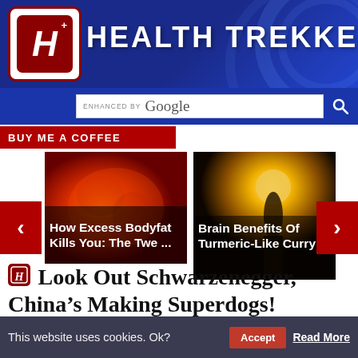[Figure (logo): Health Trekker website logo with H+ icon in red square and bold white text on dark blue banner]
ENHANCED BY Google
BUY ME A COFFEE
[Figure (photo): Article card: How Excess Bodyfat Kills You: The Twe ... - orange/red body scan image]
[Figure (photo): Article card: Brain Benefits Of Turmeric-Like Curry ... - silhouette meditating at sunset]
For information only. This content is not medical care, advice, diagnosis, or recommendations.
Look Out Schwarzenegger, China’s Making Superdogs!
FILED UNDER: BETTER LIVING THRO... ISTRY, BIO-TECH, EXERCISE, STUPID HEALTH TRICKS
This website uses cookies. Ok?
Accept
Read More